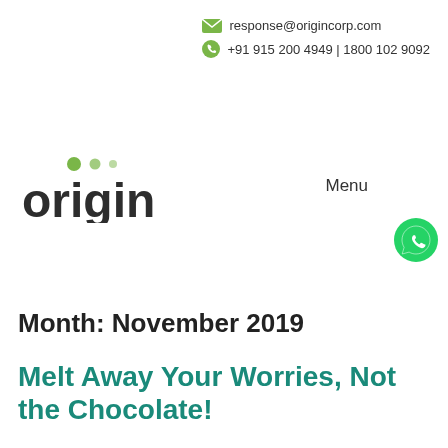response@origincorp.com
+91 915 200 4949 | 1800 102 9092
[Figure (logo): Origin company logo with green dots above letters 'i', 'g', 'i' in the word 'origin']
Menu
[Figure (illustration): WhatsApp green phone icon]
Month: November 2019
Melt Away Your Worries, Not the Chocolate!